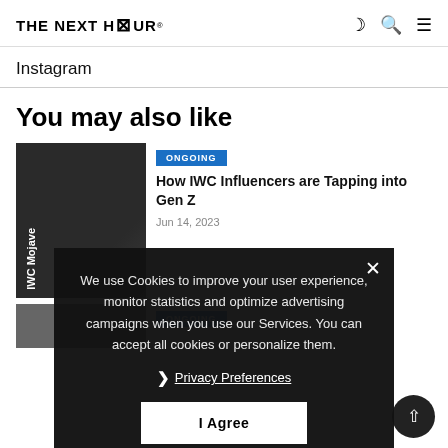THE NEXT HOUR®
Instagram
You may also like
[Figure (screenshot): Article card image showing dark background with 'IWC Mojave' text visible]
ONGOING
How IWC Influencers are Tapping into Gen Z
Jun 14, 2023
We use Cookies to improve your user experience, monitor statistics and optimize advertising campaigns when you use our Services. You can accept all cookies or personalize them.
Privacy Preferences
I Agree